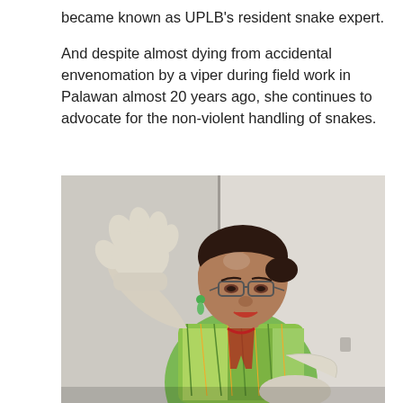became known as UPLB's resident snake expert.
And despite almost dying from accidental envenomation by a viper during field work in Palawan almost 20 years ago, she continues to advocate for the non-violent handling of snakes.
[Figure (photo): A woman wearing glasses and a colorful green and yellow patterned blouse with a lanyard, wearing white latex gloves, raising her right gloved hand upward. She appears to be speaking or demonstrating something. Background shows gray cabinet doors.]